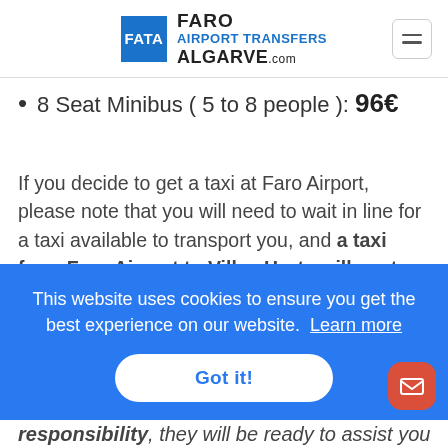[Figure (logo): Faro Airport Transfers Algarve logo with blue square FATA emblem and site name text]
8 Seat Minibus ( 5 to 8 people ): 96€
If you decide to get a taxi at Faro Airport, please note that you will need to wait in line for a taxi available to transport you, and a taxi from Faro Airport to Villas Horta will cost on average 25% more than a pre-booked transfer. Be aware of
This website uses cookies to ensure you get the best experience on our website.  Learn more
Got it!
responsibility, they will be ready to assist you